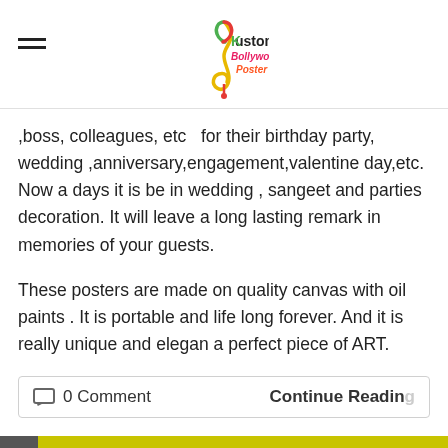[Figure (logo): Kustom Bollywood Poster logo with music note icon]
,boss, colleagues, etc  for their birthday party, wedding ,anniversary,engagement,valentine day,etc. Now a days it is be in wedding , sangeet and parties decoration. It will leave a long lasting remark in memories of your guests.
These posters are made on quality canvas with oil paints . It is portable and life long forever. And it is really unique and elegan a perfect piece of ART.
0 Comment    Continue Reading
[Figure (photo): Bollywood poster image with yellow background showing AMITABH BACHCHAN & PRAN text and silhouette figures]